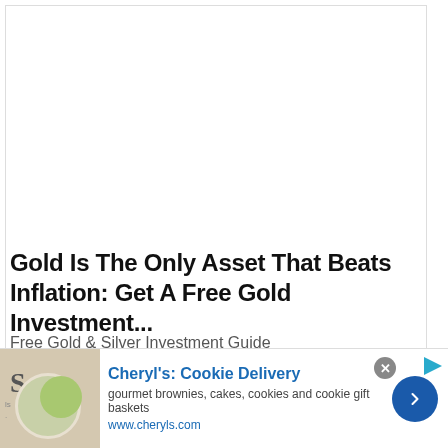[Figure (photo): White blank area at top of article card, serving as image placeholder]
Gold Is The Only Asset That Beats Inflation: Get A Free Gold Investment...
Free Gold & Silver Investment Guide
[Figure (photo): Partial image strip showing warm skin-toned background at bottom of article card]
[Figure (photo): Ad banner image showing a plate with a lime/lemon slice and newspaper/text in background]
Cheryl's: Cookie Delivery
gourmet brownies, cakes, cookies and cookie gift baskets
www.cheryls.com